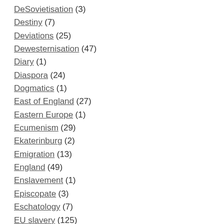DeSovietisation (3)
Destiny (7)
Deviations (25)
Dewesternisation (47)
Diary (1)
Diaspora (24)
Dogmatics (1)
East of England (27)
Eastern Europe (1)
Ecumenism (29)
Ekaterinburg (2)
Emigration (13)
England (49)
Enslavement (1)
Episcopate (3)
Eschatology (7)
EU slavery (125)
Eurasia (9)
Eurasian Economic Union (12)